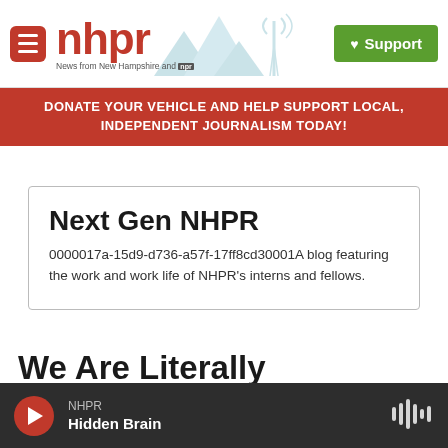[Figure (logo): NHPR website header with hamburger menu button, NHPR logo with mountain/radio tower illustration, and green Support button]
DONATE YOUR VEHICLE AND HELP SUPPORT LOCAL, INDEPENDENT JOURNALISM TODAY!
Next Gen NHPR
0000017a-15d9-d736-a57f-17ff8cd30001A blog featuring the work and work life of NHPR's interns and fellows.
We Are Literally Obsessed
NHPR Hidden Brain